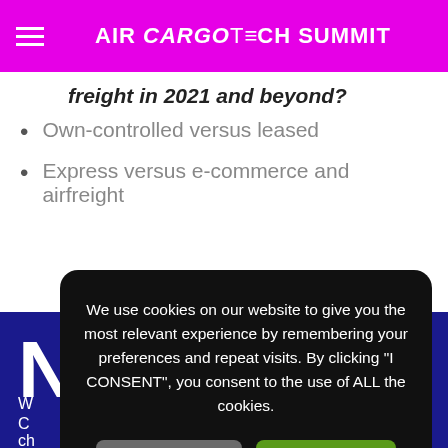AIR CARGO TECH SUMMIT
freight in 2021 and beyond?
Own-controlled versus leased
Express versus e-commerce and airfreight
We use cookies on our website to give you the most relevant experience by remembering your preferences and repeat visits. By clicking "I CONSENT", you consent to the use of ALL the cookies.
Cookie settings
I CONSENT
Review our Cookie Policies